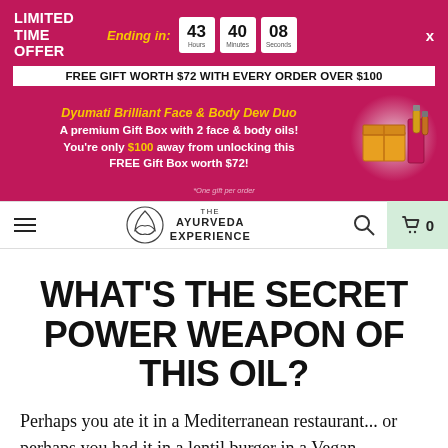[Figure (screenshot): Promotional banner showing LIMITED TIME OFFER with countdown timer (43 hours, 40 minutes, 08 seconds), free gift offer text, and product image]
FREE GIFT WORTH $72 WITH EVERY ORDER OVER $100
Dyumati Brilliant Face & Body Dew Duo
A premium Gift Box with 2 face & body oils!
You're only $100 away from unlocking this FREE Gift Box worth $72!
[Figure (logo): The Ayurveda Experience logo with leaf/mountain emblem]
WHAT'S THE SECRET POWER WEAPON OF THIS OIL?
Perhaps you ate it in a Mediterranean restaurant... or perhaps you had it in a lentil burger in a Vegan restaurant... perhaps you've